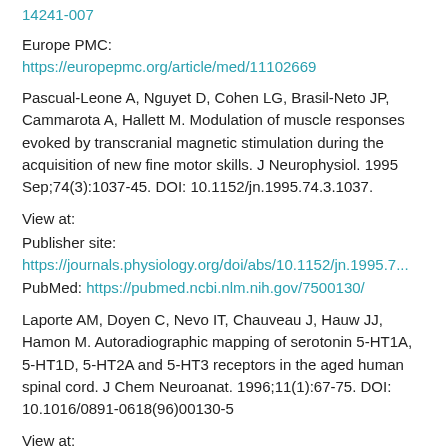14241-007
Europe PMC:
https://europepmc.org/article/med/11102669
Pascual-Leone A, Nguyet D, Cohen LG, Brasil-Neto JP, Cammarota A, Hallett M. Modulation of muscle responses evoked by transcranial magnetic stimulation during the acquisition of new fine motor skills. J Neurophysiol. 1995 Sep;74(3):1037-45. DOI: 10.1152/jn.1995.74.3.1037.
View at:
Publisher site:
https://journals.physiology.org/doi/abs/10.1152/jn.1995.7...
PubMed: https://pubmed.ncbi.nlm.nih.gov/7500130/
Laporte AM, Doyen C, Nevo IT, Chauveau J, Hauw JJ, Hamon M. Autoradiographic mapping of serotonin 5-HT1A, 5-HT1D, 5-HT2A and 5-HT3 receptors in the aged human spinal cord. J Chem Neuroanat. 1996;11(1):67-75. DOI: 10.1016/0891-0618(96)00130-5
View at:
Scopus:
https://www.sciencedirect.com/science/article/abs/pii...